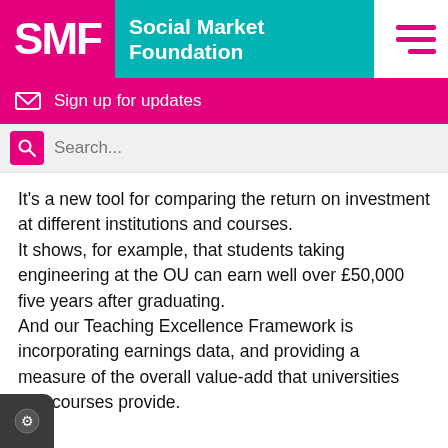[Figure (logo): Social Market Foundation logo with pink SMF block, teal Social Market Foundation text block, and pink hamburger menu icon on the right]
[Figure (infographic): Pink sign up for updates bar with envelope icon]
[Figure (infographic): Search bar with pink search icon and placeholder text Search...]
It’s a new tool for comparing the return on investment at different institutions and courses.
It shows, for example, that students taking engineering at the OU can earn well over £50,000 five years after graduating.
And our Teaching Excellence Framework is incorporating earnings data, and providing a measure of the overall value-add that universities and courses provide.